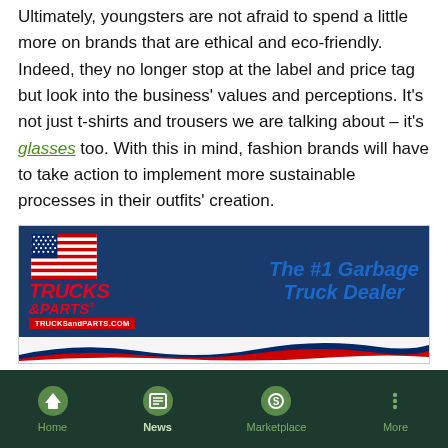Ultimately, youngsters are not afraid to spend a little more on brands that are ethical and eco-friendly. Indeed, they no longer stop at the label and price tag but look into the business' values and perceptions. It's not just t-shirts and trousers we are talking about – it's glasses too. With this in mind, fashion brands will have to take action to implement more sustainable processes in their outfits' creation.
[Figure (logo): Trucks & Parts advertisement banner. Shows American flag graphic, red bold italic 'TRUCKS & PARTS' logo text, TrucksandParts.com red website bar, and blue bold text 'The #1 Garbage Truck Dealer' on dark blue background with wave graphic.]
SPONSOR
Animal Rights
Home | News | Marketplace | More